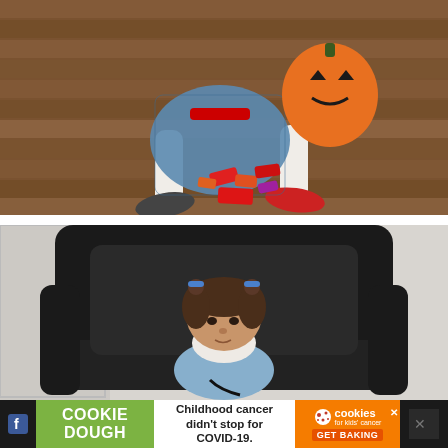[Figure (photo): Child in Dorothy costume (blue gingham dress, red sparkly shoes, white tights) sitting on hardwood floor with an orange jack-o-lantern trick-or-treat bucket and scattered Halloween candy.]
[Figure (photo): Young toddler girl with pigtails held by blue barrettes, wearing blue gingham dress, sitting in a black leather armchair looking downward.]
[Figure (infographic): Advertisement banner: Green section reads COOKIE DOUGH; white center reads Childhood cancer didn't stop for COVID-19.; orange section shows cookies for kids cancer logo and GET BAKING button; dark sections on sides with social media icons and close button.]